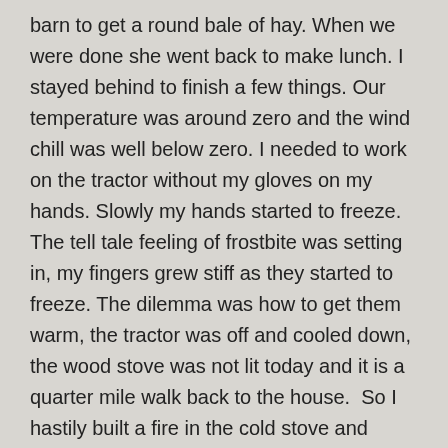barn to get a round bale of hay. When we were done she went back to make lunch. I stayed behind to finish a few things. Our temperature was around zero and the wind chill was well below zero. I needed to work on the tractor without my gloves on my hands. Slowly my hands started to freeze. The tell tale feeling of frostbite was setting in, my fingers grew stiff as they started to freeze. The dilemma was how to get them warm, the tractor was off and cooled down, the wood stove was not lit today and it is a quarter mile walk back to the house.  So I hastily built a fire in the cold stove and lovingly nurtured the small flames so to thaw my now numb fingers. Slowly my fingers regained their warm and feeling. I thought to myself; fire equals life. Keep that in mind as you venture out into the cold; cold is always hungry, it knows no fear except for fire.